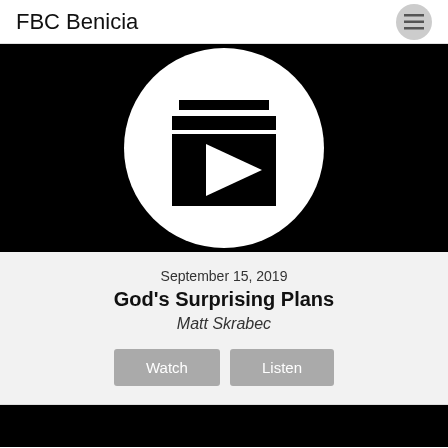FBC Benicia
[Figure (screenshot): Black video thumbnail with white circle containing a playlist/video icon and play button triangle]
September 15, 2019
God's Surprising Plans
Matt Skrabec
[Figure (screenshot): Partial black video thumbnail at the bottom of the page, beginning of next card]